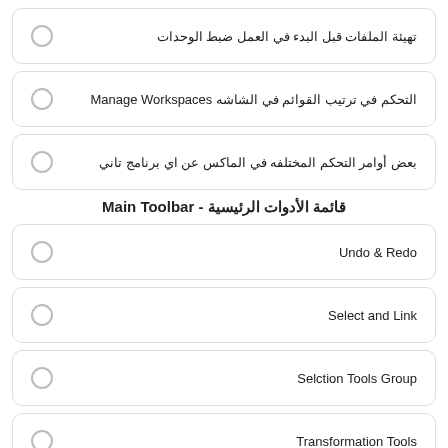تهيئة الملفات قبل البدء في العمل ضبط الوحدات
التحكم في ترتيب القوائم في الشاشه Manage Workspaces
بعض أوامر التحكم المختلفه في الماكس عن اي برنامج تاني
قائمة الأدوات الرئيسية - Main Toolbar
Undo & Redo
Select and Link
Selction Tools Group
Transformation Tools
Reference Coordinate System